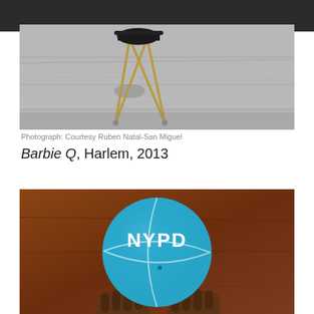[Figure (photo): Black and white photograph of a small folding chair/stool on a wet pavement street, with a dark grill or bowl at the top. The image is cropped and the top portion shows a dark background bar.]
Photograph: Courtesy Ruben Natal-San Miguel
Barbie Q, Harlem, 2013
[Figure (photo): Color photograph of two hands holding up a turquoise/blue basketball with 'NYPD' printed on it in white letters, against a brown/reddish background.]